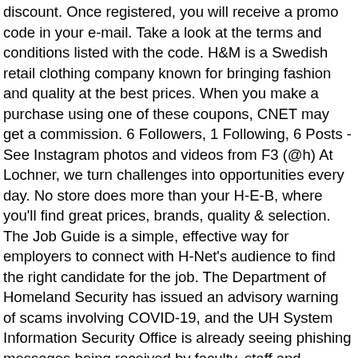discount. Once registered, you will receive a promo code in your e-mail. Take a look at the terms and conditions listed with the code. H&M is a Swedish retail clothing company known for bringing fashion and quality at the best prices. When you make a purchase using one of these coupons, CNET may get a commission. 6 Followers, 1 Following, 6 Posts - See Instagram photos and videos from F3 (@h) At Lochner, we turn challenges into opportunities every day. No store does more than your H-E-B, where you'll find great prices, brands, quality & selection. The Job Guide is a simple, effective way for employers to connect with H-Net's audience to find the right candidate for the job. The Department of Homeland Security has issued an advisory warning of scams involving COVID-19, and the UH System Information Security Office is already seeing phishing messages being received by faculty, staff and students.If you receive a suspicious phishing email to your UH email account, notify security@uh.edu.. Phishing Click to find a club near you. Brookes Publishing P.O. Certain premium features are exclusive to Microsoft 365 subscribers, Learn about premium Outlook features that come with Microsoft 365. Local Health Departments. Do you: You've found it! Learn how together we can create a better tomorrow with our comprehensive solutions to your most complex problems. It will automatically be applied to your purchase. Locate who's hiring near you and discover top jobs in your area. H&M promo code: Enjoy up to 70% off of your purchases online. The clothing retail brand